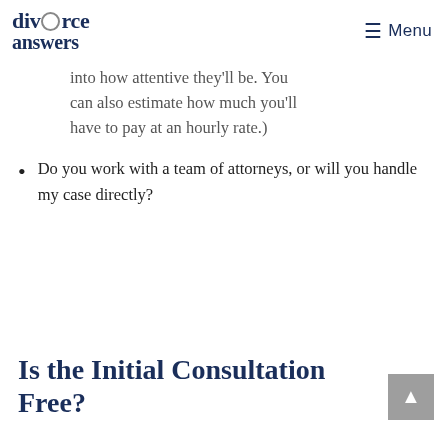divorce answers — Menu
into how attentive they'll be. You can also estimate how much you'll have to pay at an hourly rate.)
Do you work with a team of attorneys, or will you handle my case directly?
Is the Initial Consultation Free?